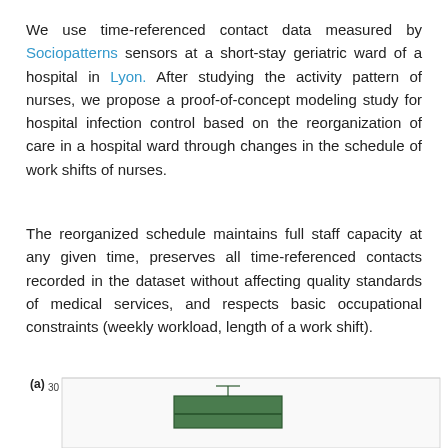We use time-referenced contact data measured by Sociopatterns sensors at a short-stay geriatric ward of a hospital in Lyon. After studying the activity pattern of nurses, we propose a proof-of-concept modeling study for hospital infection control based on the reorganization of care in a hospital ward through changes in the schedule of work shifts of nurses.
The reorganized schedule maintains full staff capacity at any given time, preserves all time-referenced contacts recorded in the dataset without affecting quality standards of medical services, and respects basic occupational constraints (weekly workload, length of a work shift).
[Figure (continuous-plot): Panel (a) showing the beginning of a box plot chart. The y-axis shows value 30. A green filled box with a median line is visible, partially cut off at the bottom of the page.]